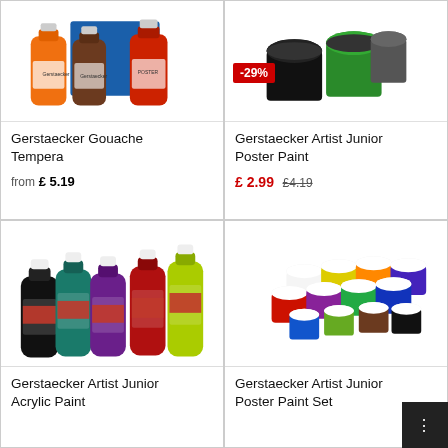[Figure (photo): Three bottles of Gerstaecker Gouache Tempera paint (orange, brown, red) with a blue box]
Gerstaecker Gouache Tempera
from £ 5.19
[Figure (photo): Several jars of Gerstaecker Artist Junior Poster Paint (black, green, and others) with a -29% discount badge]
Gerstaecker Artist Junior Poster Paint
£ 2.99  £4.19
[Figure (photo): Four bottles of Gerstaecker Artist Junior Acrylic Paint in black, teal, purple, red, and yellow-green]
Gerstaecker Artist Junior Acrylic Paint
[Figure (photo): Multiple small jars of Gerstaecker Artist Junior Poster Paint Set in various colors]
Gerstaecker Artist Junior Poster Paint Set